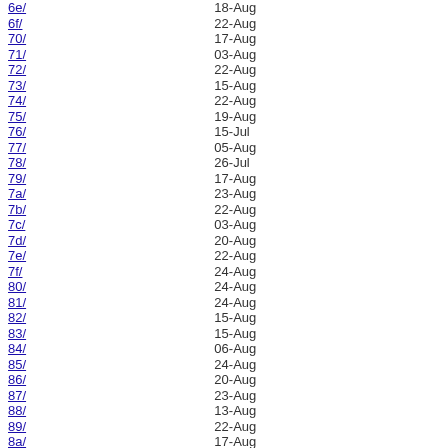| Link | Date |
| --- | --- |
| 6e/ | 18-Aug |
| 6f/ | 22-Aug |
| 70/ | 17-Aug |
| 71/ | 03-Aug |
| 72/ | 22-Aug |
| 73/ | 15-Aug |
| 74/ | 22-Aug |
| 75/ | 19-Aug |
| 76/ | 15-Jul |
| 77/ | 05-Aug |
| 78/ | 26-Jul |
| 79/ | 17-Aug |
| 7a/ | 23-Aug |
| 7b/ | 22-Aug |
| 7c/ | 03-Aug |
| 7d/ | 20-Aug |
| 7e/ | 22-Aug |
| 7f/ | 24-Aug |
| 80/ | 24-Aug |
| 81/ | 24-Aug |
| 82/ | 15-Aug |
| 83/ | 15-Aug |
| 84/ | 06-Aug |
| 85/ | 24-Aug |
| 86/ | 20-Aug |
| 87/ | 23-Aug |
| 88/ | 13-Aug |
| 89/ | 22-Aug |
| 8a/ | 17-Aug |
| 8b/ | 05-Aug |
| 8c/ | 13-Jul |